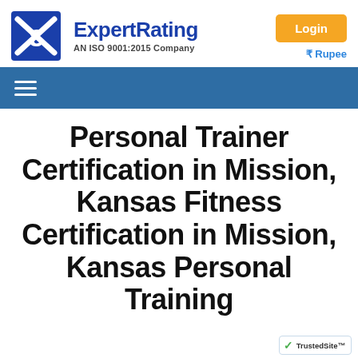ExpertRating AN ISO 9001:2015 Company
[Figure (logo): ExpertRating logo with blue X/E icon and company name, AN ISO 9001:2015 Company]
Login
₹ Rupee
Personal Trainer Certification in Mission, Kansas Fitness Certification in Mission, Kansas Personal Training